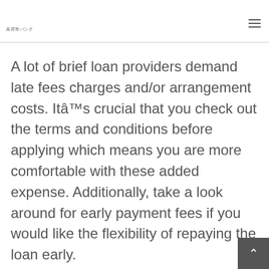美容室バンク
A lot of brief loan providers demand late fees charges and/or arrangement costs. Itâ™s crucial that you check out the terms and conditions before applying which means you are more comfortable with these added expense. Additionally, take a look around for early payment fees if you would like the flexibility of repaying the loan early.
Despite the chance for added costs, FO